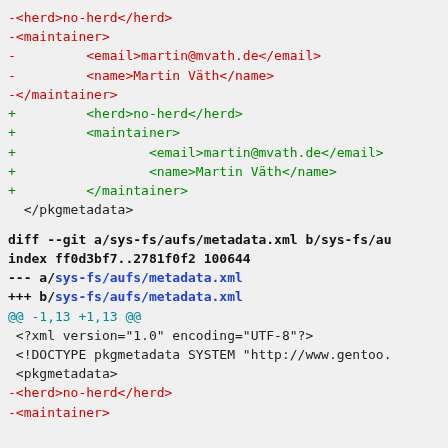-<herd>no-herd</herd>
-<maintainer>
-         <email>martin@mvath.de</email>
-         <name>Martin Väth</name>
-</maintainer>
+         <herd>no-herd</herd>
+         <maintainer>
+                 <email>martin@mvath.de</email>
+                 <name>Martin Väth</name>
+         </maintainer>
  </pkgmetadata>
diff --git a/sys-fs/aufs/metadata.xml b/sys-fs/au
index ff0d3bf7..2781f0f2 100644
--- a/sys-fs/aufs/metadata.xml
+++ b/sys-fs/aufs/metadata.xml
@@ -1,13 +1,13 @@
  <?xml version="1.0" encoding="UTF-8"?>
  <!DOCTYPE pkgmetadata SYSTEM "http://www.gentoo.
  <pkgmetadata>
-<herd>no-herd</herd>
-<maintainer>